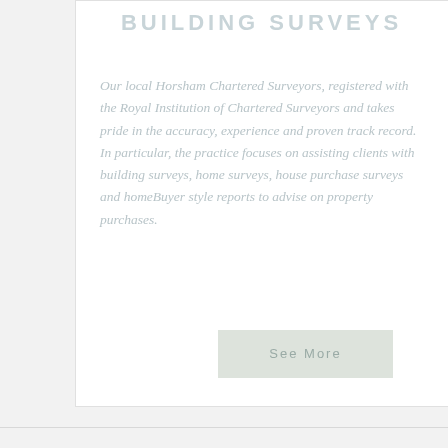BUILDING SURVEYS
Our local Horsham Chartered Surveyors, registered with the Royal Institution of Chartered Surveyors and takes pride in the accuracy, experience and proven track record. In particular, the practice focuses on assisting clients with building surveys, home surveys, house purchase surveys and homeBuyer style reports to advise on property purchases.
See More